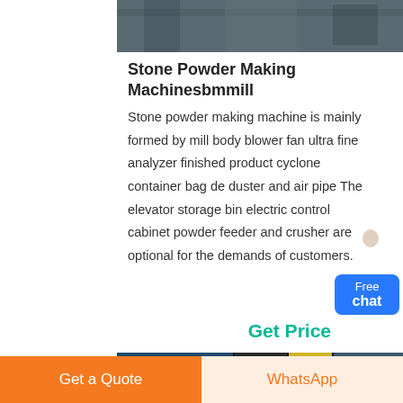[Figure (photo): Partial view of stone powder making machine equipment, dark industrial machinery from above]
Stone Powder Making Machinesbmmill
Stone powder making machine is mainly formed by mill body blower fan ultra fine analyzer finished product cyclone container bag de duster and air pipe The elevator storage bin electric control cabinet powder feeder and crusher are optional for the demands of customers.
[Figure (photo): Chat widget with a customer service avatar and a blue Free chat button]
Get Price
[Figure (photo): Bottom partial image of industrial stone powder making machinery in blue and yellow]
Get a Quote
WhatsApp